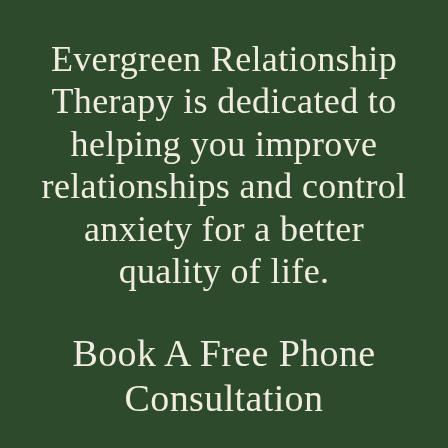Evergreen Relationship Therapy is dedicated to helping you improve relationships and control anxiety for a better quality of life.
Book A Free Phone Consultation